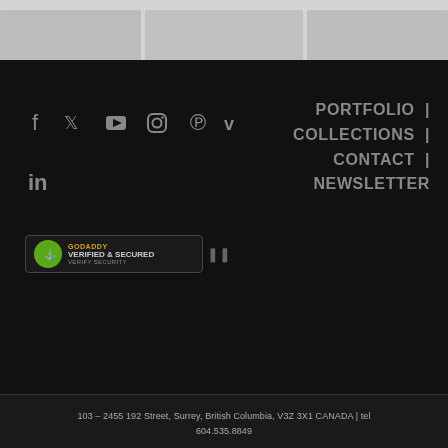[Figure (photo): Three product/portfolio images partially visible at the top of the page, gray thumbnail placeholders]
f (Facebook) | Twitter | YouTube | Instagram | Pinterest | Vimeo | LinkedIn — social media icons
PORTFOLIO | COLLECTIONS | CONTACT | NEWSLETTER
[Figure (logo): GoDaddy Verified & Secured badge with shield icon and QR code]
103 – 2455 192 Street, Surrey, British Columbia, V3Z 3X1 CANADA | tel 604.535.8849